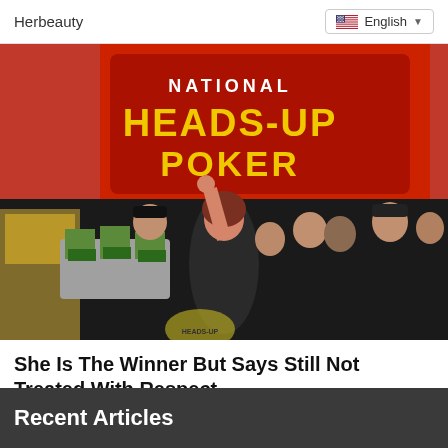Herbeauty
English
[Figure (photo): Group of people at a National Heads-Up Poker championship event. A woman in the center is celebrating with her fist raised, surrounded by a group of people. A person on the left in a Roman gladiator costume holds a tray of stacked cash.]
She Is The Winner But Says Still Not Treated With Respect
Herbeauty
Recent Articles